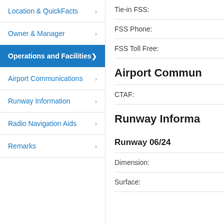Location & QuickFacts
Owner & Manager
Operations and Facilities
Airport Communications
Runway Information
Radio Navigation Aids
Remarks
Tie-in FSS:
FSS Phone:
FSS Toll Free:
Airport Commun
CTAF:
Runway Informa
Runway 06/24
Dimension:
Surface: